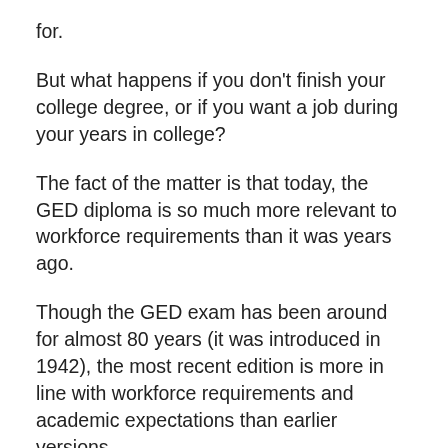for.
But what happens if you don't finish your college degree, or if you want a job during your years in college?
The fact of the matter is that today, the GED diploma is so much more relevant to workforce requirements than it was years ago.
Though the GED exam has been around for almost 80 years (it was introduced in 1942), the most recent edition is more in line with workforce requirements and academic expectations than earlier versions.
Most employers, however, are probably not